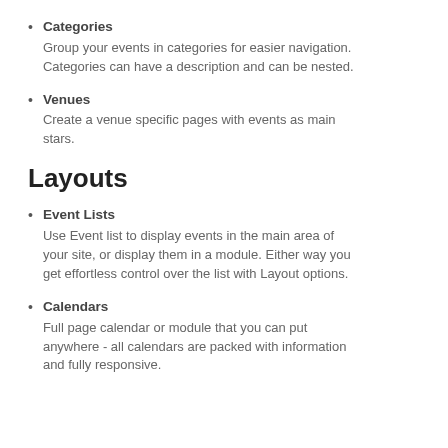Categories – Group your events in categories for easier navigation. Categories can have a description and can be nested.
Venues – Create a venue specific pages with events as main stars.
Layouts
Event Lists – Use Event list to display events in the main area of your site, or display them in a module. Either way you get effortless control over the list with Layout options.
Calendars – Full page calendar or module that you can put anywhere - all calendars are packed with information and fully responsive.